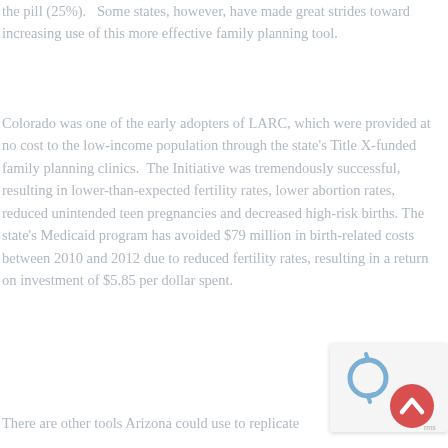the pill (25%).   Some states, however, have made great strides toward increasing use of this more effective family planning tool.
Colorado was one of the early adopters of LARC, which were provided at no cost to the low-income population through the state's Title X-funded family planning clinics.  The Initiative was tremendously successful, resulting in lower-than-expected fertility rates, lower abortion rates, reduced unintended teen pregnancies and decreased high-risk births. The state's Medicaid program has avoided $79 million in birth-related costs between 2010 and 2012 due to reduced fertility rates, resulting in a return on investment of $5.85 per dollar spent.
There are other tools Arizona could use to replicate...